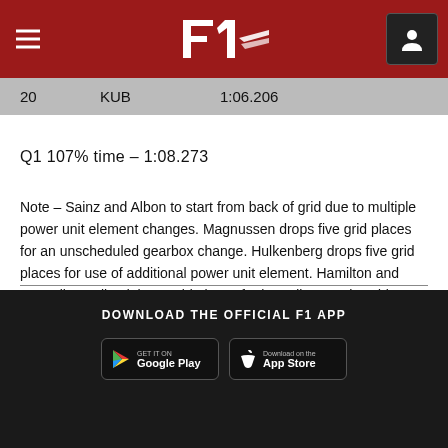F1 App Header
20    KUB    1:06.206
Q1 107% time - 1:08.273
Note - Sainz and Albon to start from back of grid due to multiple power unit element changes. Magnussen drops five grid places for an unscheduled gearbox change. Hulkenberg drops five grid places for use of additional power unit element. Hamilton and Russell penalised three grid places for impeding another driver during qualifying.
DOWNLOAD THE OFFICIAL F1 APP